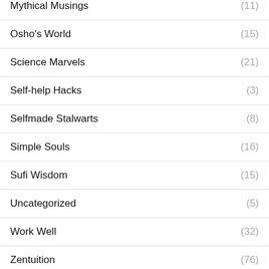Mythical Musings (11)
Osho's World (15)
Science Marvels (21)
Self-help Hacks (3)
Selfmade Stalwarts (8)
Simple Souls (16)
Sufi Wisdom (15)
Uncategorized (5)
Work Well (32)
Zentuition (76)